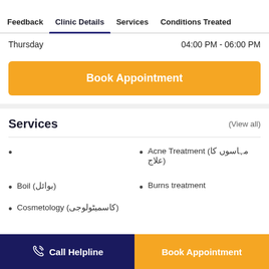Feedback | Clinic Details | Services | Conditions Treated
Thursday    04:00 PM - 06:00 PM
Book Appointment
Services
(View all)
Acne Treatment (مہاسوں کا علاج)
Boil (بوائل)
Burns treatment
Cosmetology (کاسمیٹولوجی)
Call Helpline | Book Appointment